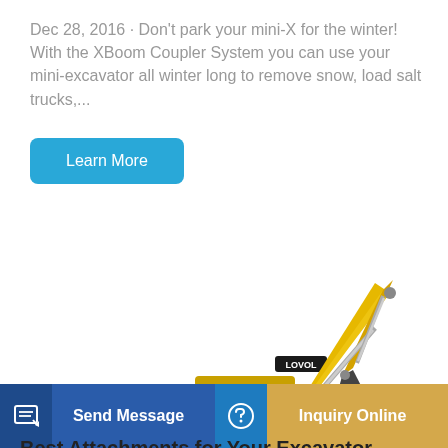Dec 28, 2016 · Don't park your mini-X for the winter! With the XBoom Coupler System you can use your mini-excavator all winter long to remove snow, load salt trucks,...
Learn More
[Figure (photo): Yellow LOVOL brand full-size excavator with black bucket, shown in profile against white background]
Send Message
Inquiry Online
Best Attachments for Your Excavator